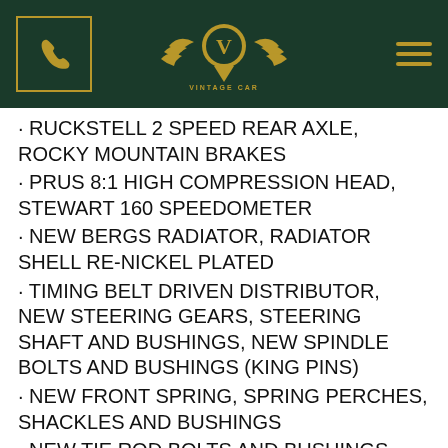Vintage Car Collector
RUCKSTELL 2 SPEED REAR AXLE, ROCKY MOUNTAIN BRAKES
PRUS 8:1 HIGH COMPRESSION HEAD, STEWART 160 SPEEDOMETER
NEW BERGS RADIATOR, RADIATOR SHELL RE-NICKEL PLATED
TIMING BELT DRIVEN DISTRIBUTOR, NEW STEERING GEARS, STEERING SHAFT AND BUSHINGS, NEW SPINDLE BOLTS AND BUSHINGS (KING PINS)
NEW FRONT SPRING, SPRING PERCHES, SHACKLES AND BUSHINGS
NEW TIE ROD BOLTS AND BUSHINGS, LED HEADLAMP BULBS AND BRAKE LIGHTS, ACCESSORY REAR TURN SIGNALS / BRAKE LIGHTS